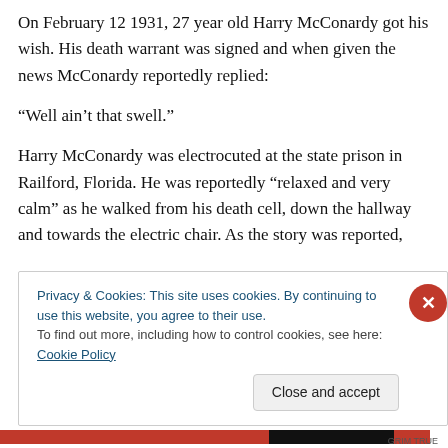On February 12 1931, 27 year old Harry McConardy got his wish. His death warrant was signed and when given the news McConardy reportedly replied:
“Well ain’t that swell.”
Harry McConardy was electrocuted at the state prison in Railford, Florida. He was reportedly “relaxed and very calm” as he walked from his death cell, down the hallway and towards the electric chair. As the story was reported,
Privacy & Cookies: This site uses cookies. By continuing to use this website, you agree to their use.
To find out more, including how to control cookies, see here: Cookie Policy
Close and accept